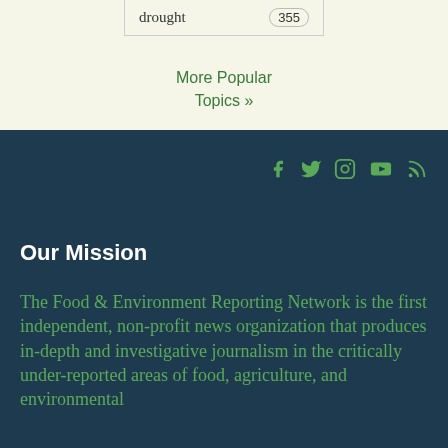| drought | 355 |
More Popular Topics »
[Figure (infographic): Social media icons: Facebook, Twitter, Instagram, YouTube, RSS feed]
Our Mission
The Food & Environment Reporting Network is the first independent, non-profit news organization that produces in-depth and investigative journalism in the critically under-reported areas of food, agriculture, and environmental health, and we are committed to